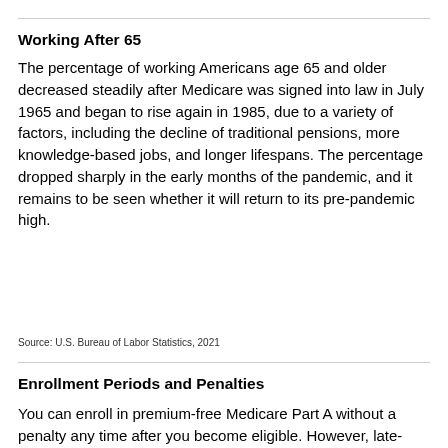Working After 65
The percentage of working Americans age 65 and older decreased steadily after Medicare was signed into law in July 1965 and began to rise again in 1985, due to a variety of factors, including the decline of traditional pensions, more knowledge-based jobs, and longer lifespans. The percentage dropped sharply in the early months of the pandemic, and it remains to be seen whether it will return to its pre-pandemic high.
Source: U.S. Bureau of Labor Statistics, 2021
Enrollment Periods and Penalties
You can enroll in premium-free Medicare Part A without a penalty any time after you become eligible. However, late-enrollment penalties may apply if you do not enroll in